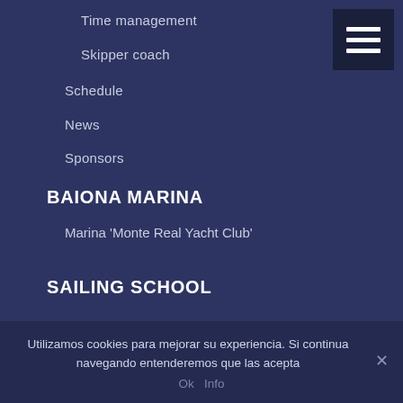Time management
Skipper coach
Schedule
News
Sponsors
BAIONA MARINA
Marina 'Monte Real Yacht Club'
SAILING SCHOOL
Utilizamos cookies para mejorar su experiencia. Si continua navegando entenderemos que las acepta
Ok   Info